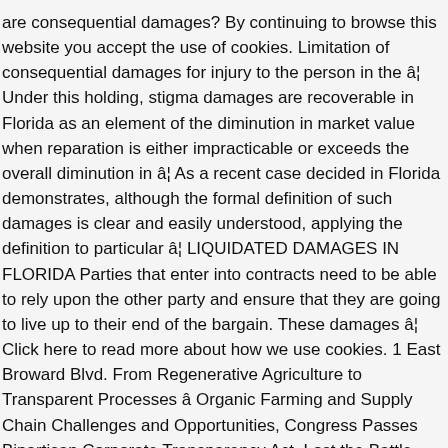are consequential damages? By continuing to browse this website you accept the use of cookies. Limitation of consequential damages for injury to the person in the â¦ Under this holding, stigma damages are recoverable in Florida as an element of the diminution in market value when reparation is either impracticable or exceeds the overall diminution in â¦ As a recent case decided in Florida demonstrates, although the formal definition of such damages is clear and easily understood, applying the definition to particular â¦ LIQUIDATED DAMAGES IN FLORIDA Parties that enter into contracts need to be able to rely upon the other party and ensure that they are going to live up to their end of the bargain. These damages â¦ Click here to read more about how we use cookies. 1 East Broward Blvd. From Regenerative Agriculture to Transparent Processes â Organic Farming and Supply Chain Challenges and Opportunities, Congress Passes Bipartisan Corporate Transparency Act, Lost the Battle, Still Looking to Fight the War â the FTC Presses Forward on All Fronts to Stop Jefferson-Einstein Merger, Sovereign Immunity Protects